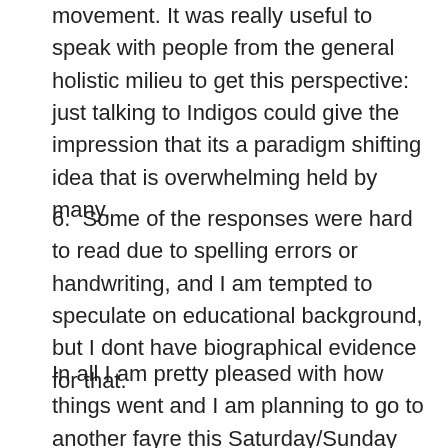movement. It was really useful to speak with people from the general holistic milieu to get this perspective: just talking to Indigos could give the impression that its a paradigm shifting idea that is overwhelming held by many.
6.  Some of the responses were hard to read due to spelling errors or handwriting, and I am tempted to speculate on educational background, but I dont have biographical evidence for that.
In all I am pretty pleased with how things went and I am planning to go to another fayre this Saturday/Sunday where I will repeat these